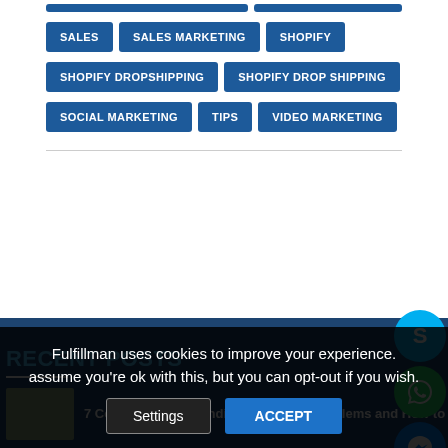SALES
SALES MARKETING
SHOPIFY
SHOPIFY DROPSHIPPING
SHOPIFY DROP SHIPPING
SOCIAL MARKETING
TIPS
VIDEO MARKETING
RECENT POSTS
7 Common Crowdfunding Fulfilment Problems and How to
Fulfillman uses cookies to improve your experience. assume you're ok with this, but you can opt-out if you wish.
Settings
ACCEPT